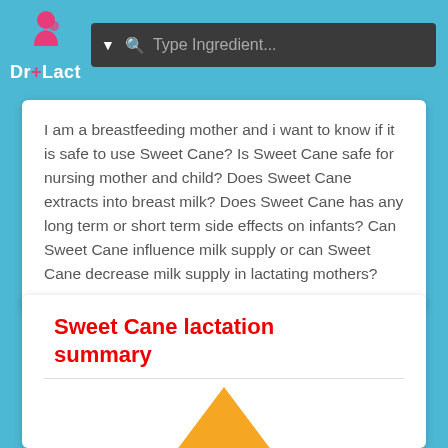Dr+Lact — Type Ingredient...
I am a breastfeeding mother and i want to know if it is safe to use Sweet Cane? Is Sweet Cane safe for nursing mother and child? Does Sweet Cane extracts into breast milk? Does Sweet Cane has any long term or short term side effects on infants? Can Sweet Cane influence milk supply or can Sweet Cane decrease milk supply in lactating mothers?
Sweet Cane lactation summary
[Figure (illustration): Orange triangle/mountain shape partially visible at the bottom of the page, part of a lactation summary infographic]